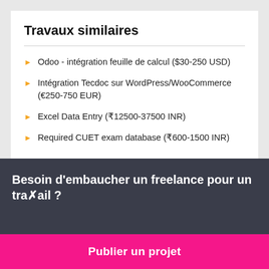Travaux similaires
Odoo - intégration feuille de calcul ($30-250 USD)
Intégration Tecdoc sur WordPress/WooCommerce (€250-750 EUR)
Excel Data Entry (₹12500-37500 INR)
Required CUET exam database (₹600-1500 INR)
Besoin d'embaucher un freelance pour un travail ?
Publier un projet